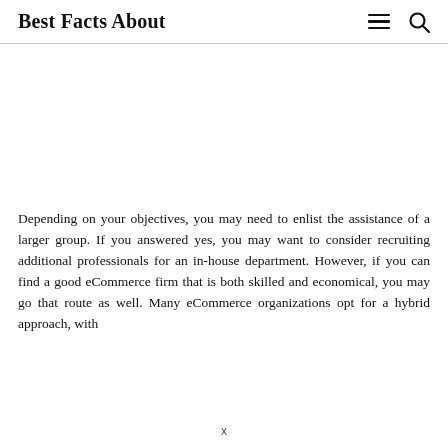Best Facts About
Depending on your objectives, you may need to enlist the assistance of a larger group. If you answered yes, you may want to consider recruiting additional professionals for an in-house department. However, if you can find a good eCommerce firm that is both skilled and economical, you may go that route as well. Many eCommerce organizations opt for a hybrid approach, with
x